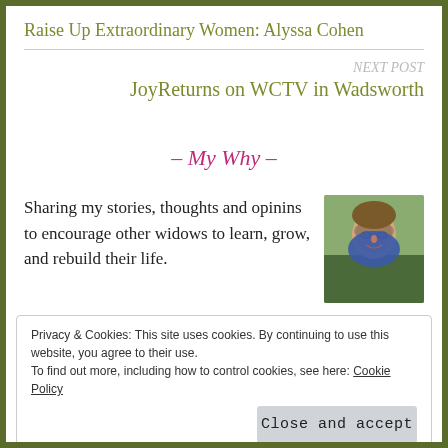Raise Up Extraordinary Women: Alyssa Cohen
NEXT POST
JoyReturns on WCTV in Wadsworth
– My Why –
Sharing my stories, thoughts and opinins to encourage other widows to learn, grow, and rebuild their life.
[Figure (photo): Portrait photo of a woman with glasses outdoors]
Privacy & Cookies: This site uses cookies. By continuing to use this website, you agree to their use.
To find out more, including how to control cookies, see here: Cookie Policy
Close and accept
Michele.Kearns@JoyReturns.com